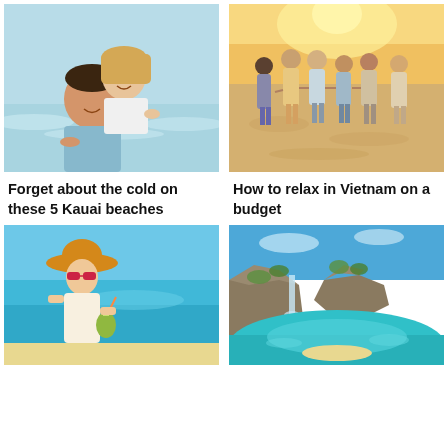[Figure (photo): Happy couple at the beach, man giving woman a piggyback ride, smiling, ocean in background]
[Figure (photo): Group of people walking on sandy beach towards sunset, holding hands, seen from behind]
Forget about the cold on these 5 Kauai beaches
How to relax in Vietnam on a budget
[Figure (photo): Woman in yellow hat and sunglasses at the beach holding a tropical drink, turquoise water behind]
[Figure (photo): Aerial view of rocky coastal cliffs with a waterfall, turquoise ocean water, and a small beach cove]